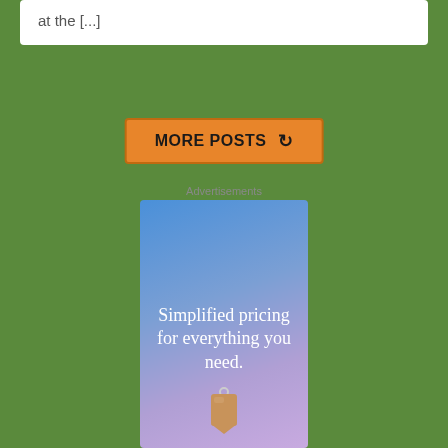at the [...]
MORE POSTS ↻
Advertisements
[Figure (illustration): Advertisement banner with blue-to-purple gradient background showing the text 'Simplified pricing for everything you need.' with a price tag icon below it.]